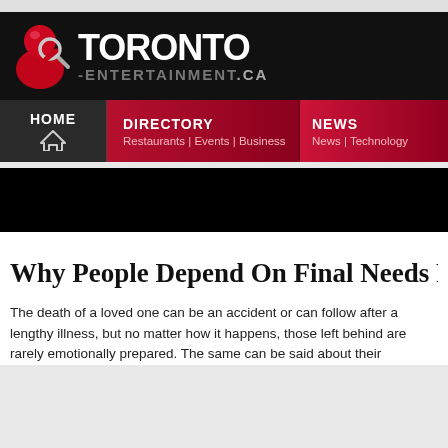[Figure (logo): Toronto-Entertainment.ca website logo with red figure mascot holding a magnifying glass, white TORONTO text, gray -ENTERTAINMENT.CA text on black background]
[Figure (screenshot): Website navigation bar with HOME (house icon), DIRECTORY (Restaurants | Events | Business), and NEWS (News | Technology) sections on dark/red gradient background]
[Figure (photo): Black advertisement banner area]
Why People Depend On Final Needs Pla
The death of a loved one can be an accident or can follow after a lengthy illness, but no matter how it happens, those left behind are rarely emotionally prepared. The same can be said about their